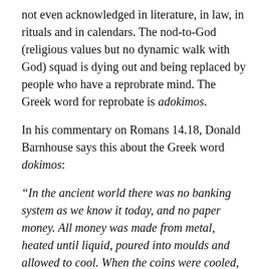not even acknowledged in literature, in law, in rituals and in calendars. The nod-to-God (religious values but no dynamic walk with God) squad is dying out and being replaced by people who have a reprobrate mind. The Greek word for reprobate is adokimos.
In his commentary on Romans 14.18, Donald Barnhouse says this about the Greek word dokimos:
“In the ancient world there was no banking system as we know it today, and no paper money. All money was made from metal, heated until liquid, poured into moulds and allowed to cool. When the coins were cooled, it was necessary to smooth off the uneven edges. The coins were comparatively soft, and of course many people shaved them closely. In one century, more than eighty laws were passed in Athens to stop the practice of whittling down the coins then